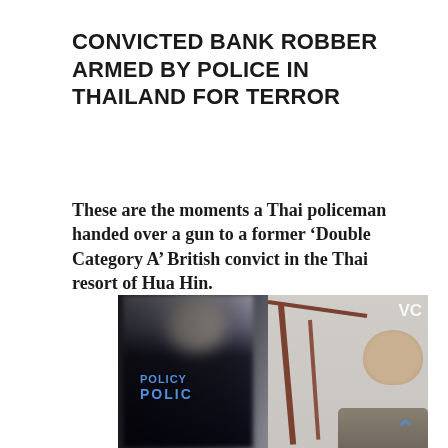CONVICTED BANK ROBBER ARMED BY POLICE IN THAILAND FOR TERROR
These are the moments a Thai policeman handed over a gun to a former ‘Double Category A’ British convict in the Thai resort of Hua Hin.
[Figure (photo): Video still showing a Thai policeman in dark uniform with 'POLICE' lettering on the back, with face blurred, and a bald man to the right near a staircase banister. Vice media watermark visible in top right corner.]